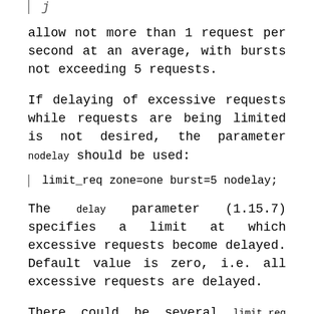j
allow not more than 1 request per second at an average, with bursts not exceeding 5 requests.
If delaying of excessive requests while requests are being limited is not desired, the parameter nodelay should be used:
limit_req zone=one burst=5 nodelay;
The delay parameter (1.15.7) specifies a limit at which excessive requests become delayed. Default value is zero, i.e. all excessive requests are delayed.
There could be several limit_req directives. For example, the following